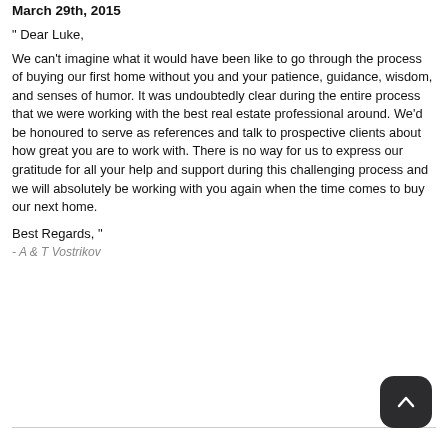March 29th, 2015
" Dear Luke,
We can't imagine what it would have been like to go through the process of buying our first home without you and your patience, guidance, wisdom, and senses of humor. It was undoubtedly clear during the entire process that we were working with the best real estate professional around. We'd be honoured to serve as references and talk to prospective clients about how great you are to work with. There is no way for us to express our gratitude for all your help and support during this challenging process and we will absolutely be working with you again when the time comes to buy our next home.
Best Regards, "
- A & T Vostrikov